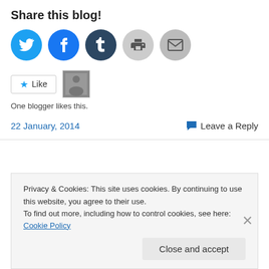Share this blog!
[Figure (illustration): Row of social sharing icon circles: Twitter (blue), Facebook (blue), Tumblr (dark navy), Print (light gray), Email (light gray)]
[Figure (illustration): Like button with star icon and a blogger avatar thumbnail next to it]
One blogger likes this.
22 January, 2014
Leave a Reply
Privacy & Cookies: This site uses cookies. By continuing to use this website, you agree to their use.
To find out more, including how to control cookies, see here: Cookie Policy
Close and accept